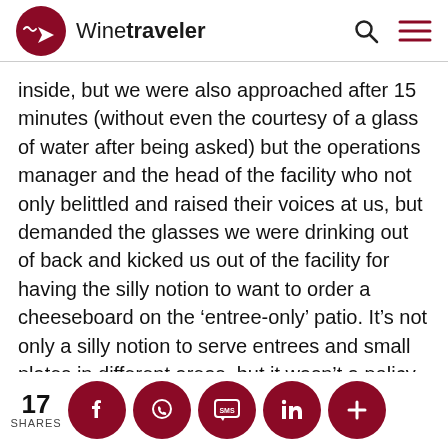Winetraveler
inside, but we were also approached after 15 minutes (without even the courtesy of a glass of water after being asked) but the operations manager and the head of the facility who not only belittled and raised their voices at us, but demanded the glasses we were drinking out of back and kicked us out of the facility for having the silly notion to want to order a cheeseboard on the ‘entree-only’ patio. It’s not only a silly notion to serve entrees and small plates in different areas, but it wasn’t a policy that was explained to us before being seated. We were also informed, after being seated,
[Figure (infographic): Social share bar with 17 shares count and circular dark red share buttons for Facebook, WhatsApp, SMS, LinkedIn, and a plus/more button]